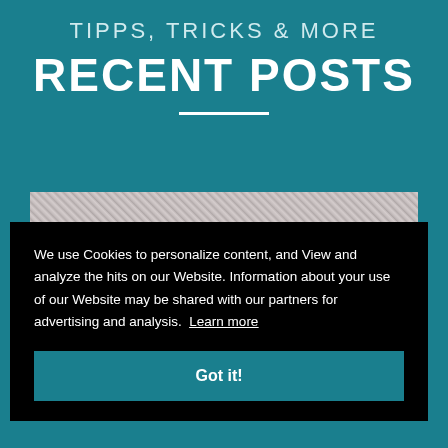TIPPS, TRICKS & MORE
RECENT POSTS
[Figure (photo): A decorative photo area showing a glittery silver/grey texture with yellow borders on the sides, partially obscured by a cookie consent overlay.]
We use Cookies to personalize content, and View and analyze the hits on our Website. Information about your use of our Website may be shared with our partners for advertising and analysis.  Learn more
Got it!